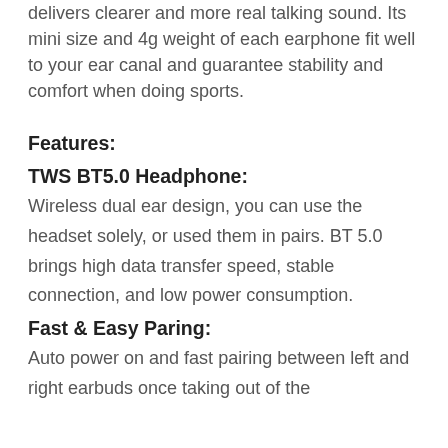delivers clearer and more real talking sound. Its mini size and 4g weight of each earphone fit well to your ear canal and guarantee stability and comfort when doing sports.
Features:
TWS BT5.0 Headphone:
Wireless dual ear design, you can use the headset solely, or used them in pairs. BT 5.0 brings high data transfer speed, stable connection, and low power consumption.
Fast & Easy Paring:
Auto power on and fast pairing between left and right earbuds once taking out of the